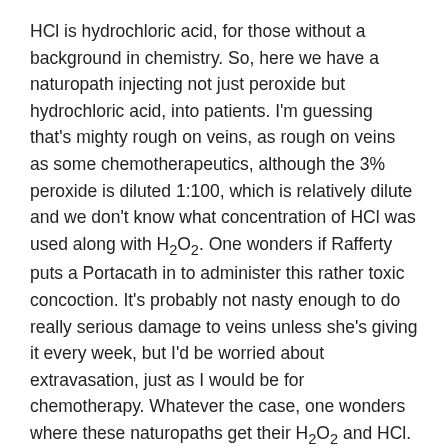HCl is hydrochloric acid, for those without a background in chemistry. So, here we have a naturopath injecting not just peroxide but hydrochloric acid, into patients. I'm guessing that's mighty rough on veins, as rough on veins as some chemotherapeutics, although the 3% peroxide is diluted 1:100, which is relatively dilute and we don't know what concentration of HCl was used along with H₂O₂. One wonders if Rafferty puts a Portacath in to administer this rather toxic concoction. It's probably not nasty enough to do really serious damage to veins unless she's giving it every week, but I'd be worried about extravasation, just as I would be for chemotherapy. Whatever the case, one wonders where these naturopaths get their H₂O₂ and HCl. Both are “natural,” but isolating them involves a lot of that evil chemistry that naturopaths so dislike.
Consistent with the love naturopaths bear for the nonexistent entity that is chronic Lyme disease, there's a letter from a naturopath about her child upon whom a tick was found. The